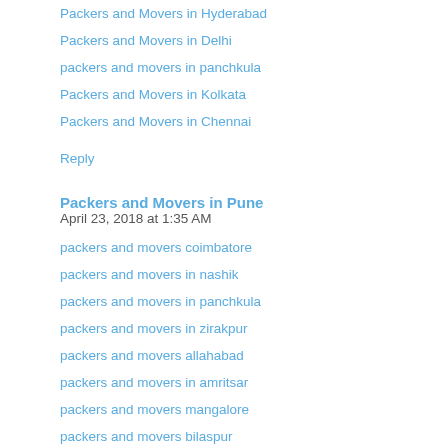Packers and Movers in Hyderabad
Packers and Movers in Delhi
packers and movers in panchkula
Packers and Movers in Kolkata
Packers and Movers in Chennai
Reply
Packers and Movers in Pune  April 23, 2018 at 1:35 AM
packers and movers coimbatore
packers and movers in nashik
packers and movers in panchkula
packers and movers in zirakpur
packers and movers allahabad
packers and movers in amritsar
packers and movers mangalore
packers and movers bilaspur
packers and movers in ajmer
packers and movers pondicherry
Reply